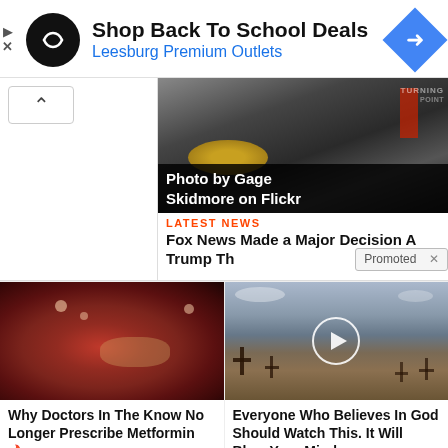[Figure (screenshot): Advertisement banner for Leesburg Premium Outlets - Shop Back To School Deals, with circular black logo with infinity-like symbol and blue diamond arrow icon]
[Figure (photo): Photo of person at podium with 'Photo by Gage Skidmore on Flickr' caption overlay, partially visible, showing news article about Fox News]
LATEST NEWS
Fox News Made a Major Decision A
Trump Th
Promoted X
[Figure (photo): Close-up medical/biological image appearing to show internal organs or tissue]
Why Doctors In The Know No Longer Prescribe Metformin
101,876
[Figure (photo): Cemetery scene with crosses and arid landscape with play button overlay indicating video]
Everyone Who Believes In God Should Watch This. It Will Blow Your Mind
2,843,767